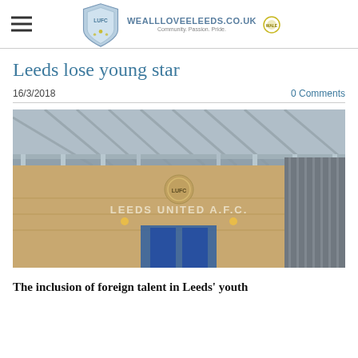WEALLLOVEELEEDS.CO.UK
Leeds lose young star
16/3/2018
0 Comments
[Figure (photo): Exterior facade of Elland Road stadium showing Leeds United A.F.C. signage and steel roof structure]
The inclusion of foreign talent in Leeds' youth